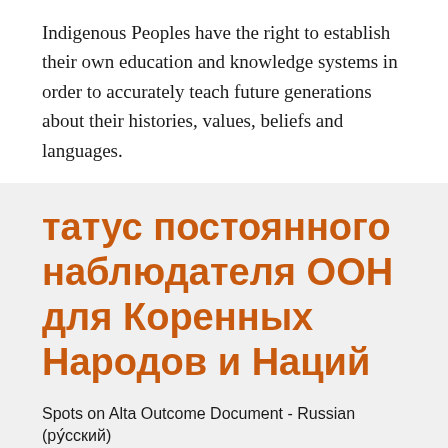Indigenous Peoples have the right to establish their own education and knowledge systems in order to accurately teach future generations about their histories, values, beliefs and languages.
татус постоянного наблюдателя ООН для Коренных Народов и Наций
Spots on Alta Outcome Document - Russian (ру́сский)
Permanent Observer status for Indigenous Peoples would mean that Indigenous Peoples could have direct participation through their own governments and